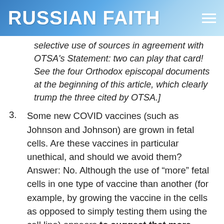RUSSIAN FAITH
selective use of sources in agreement with OTSA's Statement: two can play that card! See the four Orthodox episcopal documents at the beginning of this article, which clearly trump the three cited by OTSA.]
3. Some new COVID vaccines (such as Johnson and Johnson) are grown in fetal cells. Are these vaccines in particular unethical, and should we avoid them? Answer: No. Although the use of “more” fetal cells in one type of vaccine than another (for example, by growing the vaccine in the cells as opposed to simply testing them using the cell line) appears to suggest that more